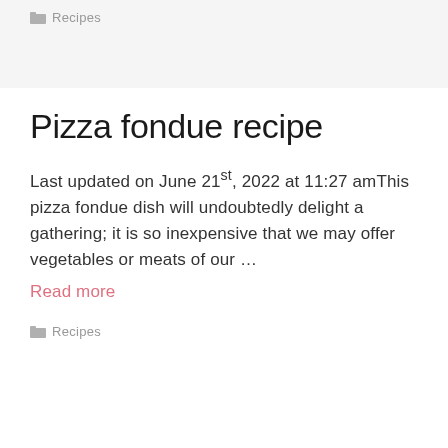Recipes
Pizza fondue recipe
Last updated on June 21st, 2022 at 11:27 amThis pizza fondue dish will undoubtedly delight a gathering; it is so inexpensive that we may offer vegetables or meats of our …
Read more
Recipes